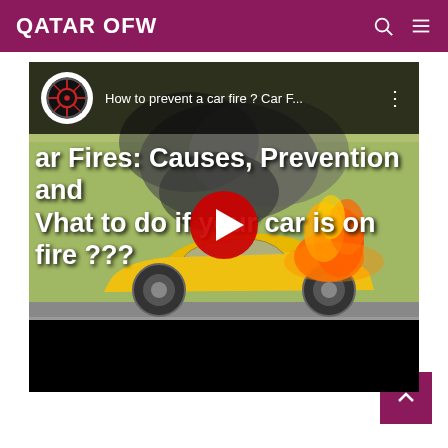QATAR OFW
[Figure (screenshot): YouTube video thumbnail showing a yellow sports car (Lamborghini) on fire. The video title reads 'How to prevent a car fire ? Car F...' with overlay text 'Car Fires: Causes, Prevention and What to do if your car is on fire ???'. A red YouTube play button is centered on the image.]